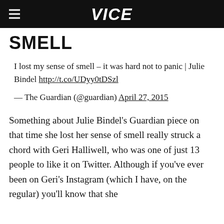VICE
SMELL
I lost my sense of smell – it was hard not to panic | Julie Bindel http://t.co/UDyy0tDSzl
— The Guardian (@guardian) April 27, 2015
Something about Julie Bindel's Guardian piece on that time she lost her sense of smell really struck a chord with Geri Halliwell, who was one of just 13 people to like it on Twitter. Although if you've ever been on Geri's Instagram (which I have, on the regular) you'll know that she